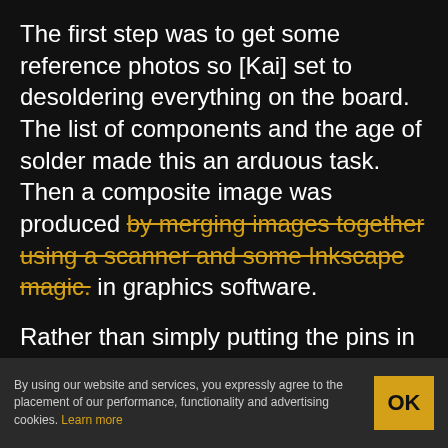The first step was to get some reference photos so [Kai] set to desoldering everything on the board. The list of components and the age of solder made this an arduous task. Then a composite image was produced [strikethrough: by merging images together using a scanner and some Inkscape magic.] in graphics software.
Rather than simply putting the pins in the right place and re-routing all the netlists, [Kai] elected instead to do a copy, trace for trace of the original SE board. [Kai] and several others on the forum have been testing the boards
By using our website and services, you expressly agree to the placement of our performance, functionality and advertising cookies. Learn more